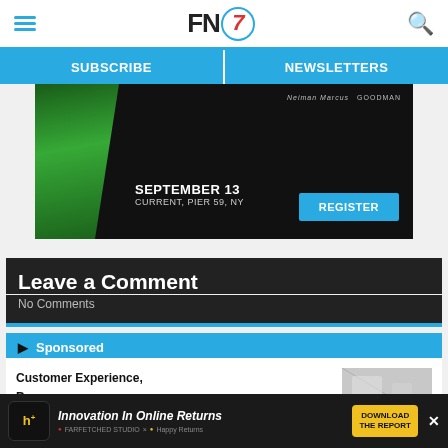FN7 - Header with hamburger menu and search
SUBSCRIBE | NEWSLETTERS
[Figure (photo): Advertisement banner for an event on September 13, Current, Pier 59, NY with a REGISTER button. Dark background with green abstract shape and event logos.]
Leave a Comment
No Comments
Sponsored
Customer Experience,
[Figure (photo): Sponsored article thumbnail showing an interior retail or showroom space.]
[Figure (photo): Bottom advertisement banner: Innovation In Online Returns - DOWNLOAD THE REPORT, featuring h+ logo, Farfetched Studio x Happy Returns branding.]